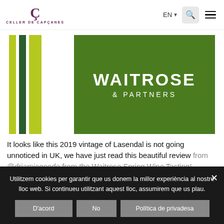CELLER DE CAPÇANES | EN | Search | Menu
[Figure (logo): Waitrose & Partners logo with green background and vertical bar stripes in yellow-green and dark green]
It looks like this 2019 vintage of Lasendal is not going unnoticed in UK, we have just read this beautiful review from @drjamiegoode from the Waitrose Spring Wine Tasting!
Utilitzem cookies per garantir que us donem la millor experiència al nostre lloc web. Si continueu utilitzant aquest lloc, assumirem que us plau. D'acord | No | Política de privadesa